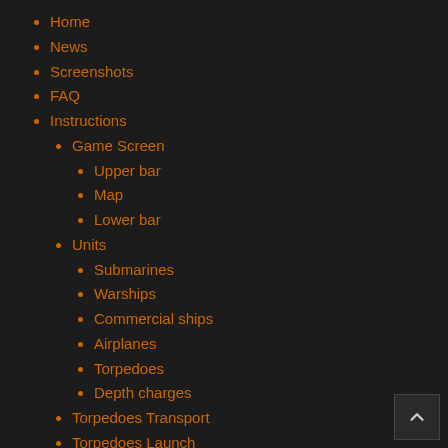Home
News
Screenshots
FAQ
Instructions
Game Screen
Upper bar
Map
Lower bar
Units
Submarines
Warships
Commercial ships
Airplanes
Torpedoes
Depth charges
Torpedoes Transport
Torpedoes Launch
Torpedoes Launch (Example 1)
Torpedoes Launch (Example 2)
Torpedoes Launch (Example 3)